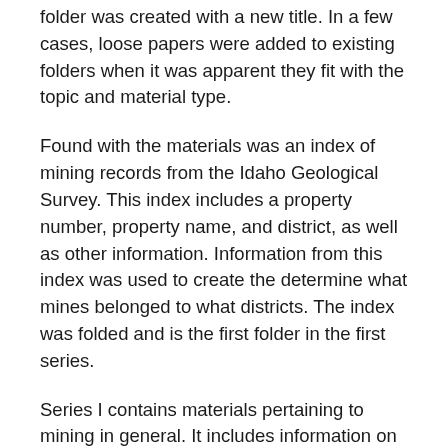easier to read. If loose papers were found, a new folder was created with a new title. In a few cases, loose papers were added to existing folders when it was apparent they fit with the topic and material type.
Found with the materials was an index of mining records from the Idaho Geological Survey. This index includes a property number, property name, and district, as well as other information. Information from this index was used to create the determine what mines belonged to what districts. The index was folded and is the first folder in the first series.
Series I contains materials pertaining to mining in general. It includes information on mining prospects in both Idaho and other states. There are also materials pertaining to mining processes in general.
Series II is divided into five sub-series, one for each mining district. These sub-series contain files relating to mines from this mining district, according to the